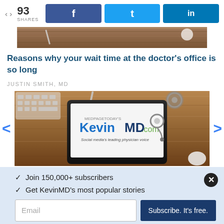93 SHARES | Facebook share | Twitter share | LinkedIn share
[Figure (photo): Partial view of doctor office desk with medical items — top strip image]
Reasons why your wait time at the doctor's office is so long
JUSTIN SMITH, MD
[Figure (photo): Tablet on wooden desk showing KevinMD.com logo — MedPage Today's KevinMD.com Social media's leading physician voice — with stethoscope and keyboard in background]
✓  Join 150,000+ subscribers
✓  Get KevinMD's most popular stories
Email | Subscribe. It's free.